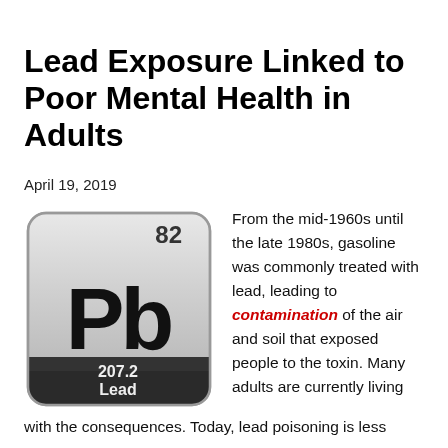Lead Exposure Linked to Poor Mental Health in Adults
April 19, 2019
[Figure (illustration): Periodic table element tile for Lead (Pb), atomic number 82, atomic weight 207.2, styled with metallic silver gradient and black Pb text.]
From the mid-1960s until the late 1980s, gasoline was commonly treated with lead, leading to contamination of the air and soil that exposed people to the toxin. Many adults are currently living with the consequences. Today, lead poisoning is less